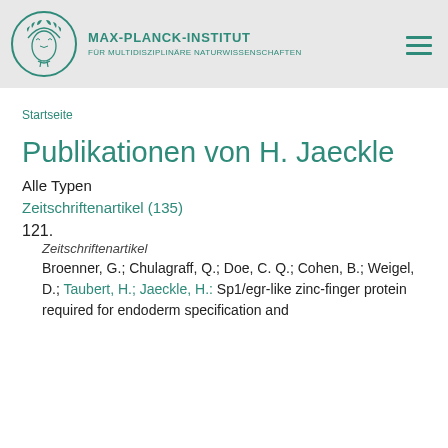[Figure (logo): Max-Planck-Institut logo: circular seal with Minerva head in teal, alongside institute name text in teal]
MAX-PLANCK-INSTITUT FÜR MULTIDISZIPLINÄRE NATURWISSENSCHAFTEN
Startseite
Publikationen von H. Jaeckle
Alle Typen
Zeitschriftenartikel (135)
121.
Zeitschriftenartikel
Broenner, G.; Chulagraff, Q.; Doe, C. Q.; Cohen, B.; Weigel, D.; Taubert, H.; Jaeckle, H.: Sp1/egr-like zinc-finger protein required for endoderm specification and